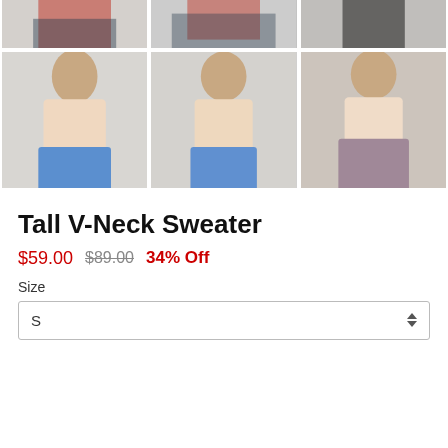[Figure (photo): Top row of 3 product photos showing model in red sweater and dark jeans (partial/cropped)]
[Figure (photo): Bottom row of 3 product photos: front view, back view, and full-length side view of model wearing beige Tall V-Neck Sweater with blue jeans and purple trousers]
Tall V-Neck Sweater
$59.00  $89.00  34% Off
Size
S